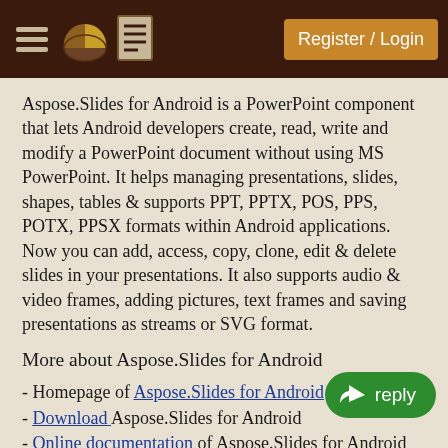Register / Login
Aspose.Slides for Android is a PowerPoint component that lets Android developers create, read, write and modify a PowerPoint document without using MS PowerPoint. It helps managing presentations, slides, shapes, tables & supports PPT, PPTX, POS, PPS, POTX, PPSX formats within Android applications. Now you can add, access, copy, clone, edit & delete slides in your presentations. It also supports audio & video frames, adding pictures, text frames and saving presentations as streams or SVG format.
More about Aspose.Slides for Android
- Homepage of Aspose.Slides for Android
- Download Aspose.Slides for Android
- Online documentation of Aspose.Slides for Android
- Demos of Aspose.Slides for Android
- Post your technical questions/queries to Aspose.Slides for Android Forum